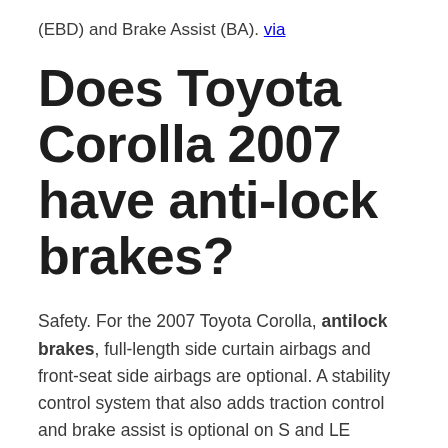(EBD) and Brake Assist (BA). via
Does Toyota Corolla 2007 have anti-lock brakes?
Safety. For the 2007 Toyota Corolla, antilock brakes, full-length side curtain airbags and front-seat side airbags are optional. A stability control system that also adds traction control and brake assist is optional on S and LE models equipped with an automatic transmission and